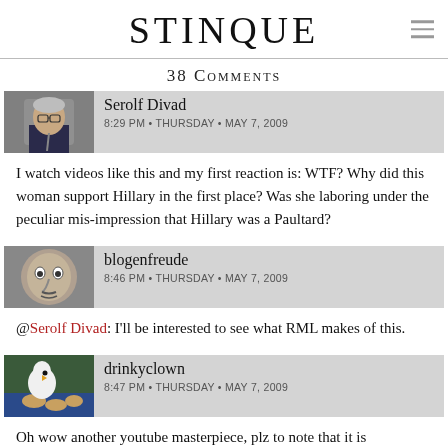STINQUE
38 Comments
[Figure (photo): Avatar of Serolf Divad: elderly man in suit]
Serolf Divad
8:29 PM • THURSDAY • MAY 7, 2009
I watch videos like this and my first reaction is: WTF? Why did this woman support Hillary in the first place? Was she laboring under the peculiar mis-impression that Hillary was a Paultard?
[Figure (photo): Avatar of blogenfreude: stylized face illustration]
blogenfreude
8:46 PM • THURSDAY • MAY 7, 2009
@Serolf Divad: I'll be interested to see what RML makes of this.
[Figure (photo): Avatar of drinkyclown: white bird/clown with cookies]
drinkyclown
8:47 PM • THURSDAY • MAY 7, 2009
Oh wow another youtube masterpiece, plz to note that it is